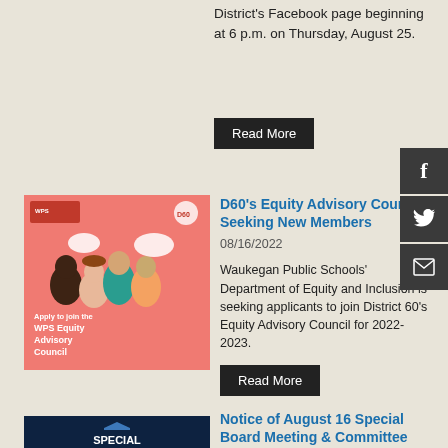District's Facebook page beginning at 6 p.m. on Thursday, August 25.
Read More
[Figure (illustration): Pink/coral background illustration showing diverse group of people with speech bubbles. Text reads: Apply to join the WPS Equity Advisory Council]
D60's Equity Advisory Council Seeking New Members
08/16/2022
Waukegan Public Schools' Department of Equity and Inclusion is seeking applicants to join District 60's Equity Advisory Council for 2022-2023.
Read More
[Figure (illustration): Dark navy blue background with Board of Education Special Meeting Notice graphic. Text: WAUKEGAN PUBLIC SCHOOLS Board of Education SPECIAL MEETING NOTICE]
Notice of August 16 Special Board Meeting & Committee Meetings
08/14/2022
A Special Closed Session Meeting of